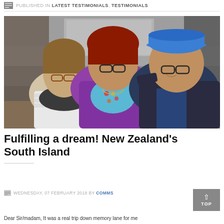PUBLISHED IN LATEST TESTIMONIALS, TESTIMONIALS
[Figure (photo): Three elderly people smiling together at a restaurant table with food and wine. Woman on left wearing glasses and striped top, woman in middle wearing purple jacket and floral blouse, man on right wearing blue cap and dark jacket.]
Fulfilling a dream! New Zealand’s South Island
WEDNESDAY, 07 FEBRUARY 2018 BY COMMS
Dear Sir/madam, It was a real trip down memory lane for me